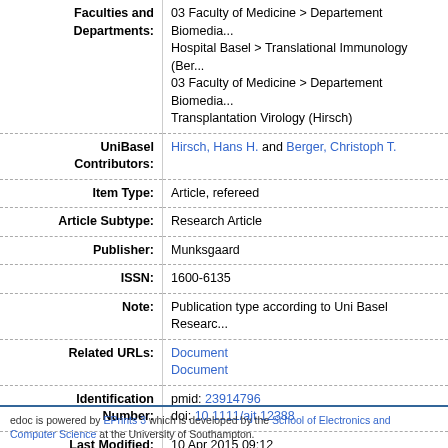| Field | Value |
| --- | --- |
| Faculties and Departments: | 03 Faculty of Medicine > Departement Biomediza... Hospital Basel > Translational Immunology (Ber... 03 Faculty of Medicine > Departement Biomediza... Transplantation Virology (Hirsch) |
| UniBasel Contributors: | Hirsch, Hans H. and Berger, Christoph T. |
| Item Type: | Article, refereed |
| Article Subtype: | Research Article |
| Publisher: | Munksgaard |
| ISSN: | 1600-6135 |
| Note: | Publication type according to Uni Basel Researc... |
| Related URLs: | Document
Document |
| Identification Number: | pmid: 23914796
doi: 10.1111/ajt.12388 |
| Last Modified: | 10 Apr 2015 09:12 |
| Deposited On: | 10 Apr 2015 09:12 |
edoc is powered by EPrints 3 which is developed by the School of Electronics and Computer Science at the University of Southampton.